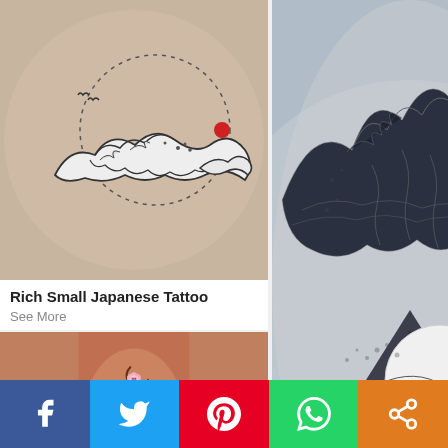[Figure (photo): Small minimalist Japanese wave tattoo on skin with dotted arc and red dot, fine line art]
Rich Small Japanese Tattoo
See More
[Figure (photo): Detailed black dotwork Japanese Great Wave tattoo on shoulder with Mt. Fuji and moon]
Perfect Small Japanese Tattoo
[Figure (photo): Colorful Japanese style tattoo with pink cherry blossom and ornate traditional elements]
[Figure (infographic): Social media share buttons bar: Facebook, Twitter, Pinterest, WhatsApp, Share]